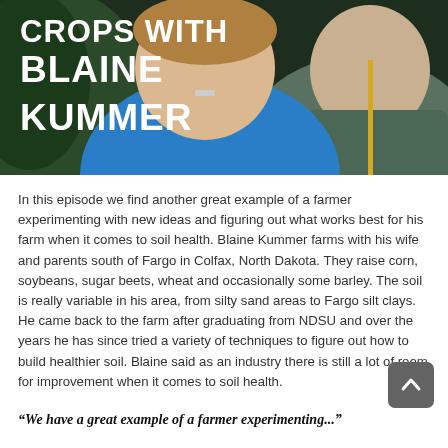[Figure (photo): Photo of people including a person in a blue jacket, with overlaid white text reading 'CROPS WITH BLAINE KUMMER'. Background shows green outdoor/agricultural setting.]
In this episode we find another great example of a farmer experimenting with new ideas and figuring out what works best for his farm when it comes to soil health. Blaine Kummer farms with his wife and parents south of Fargo in Colfax, North Dakota. They raise corn, soybeans, sugar beets, wheat and occasionally some barley. The soil is really variable in his area, from silty sand areas to Fargo silt clays. He came back to the farm after graduating from NDSU and over the years he has since tried a variety of techniques to figure out how to build healthier soil. Blaine said as an industry there is still a lot of room for improvement when it comes to soil health.
“We have a great...